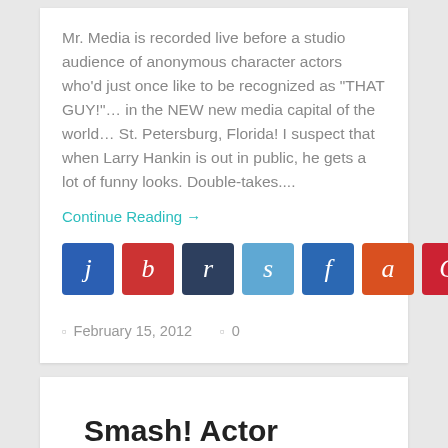Mr. Media is recorded live before a studio audience of anonymous character actors who'd just once like to be recognized as "THAT GUY!"… in the NEW new media capital of the world… St. Petersburg, Florida!   I suspect that when Larry Hankin is out in public, he gets a lot of funny looks. Double-takes....
Continue Reading →
[Figure (other): Social share buttons row: j (blue), b (red), r (dark blue), s (light blue), f (blue), a (orange-red), C (red), k (light blue)]
February 15, 2012     0
Smash! Actor Christian Borle